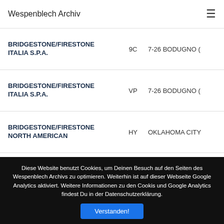Wespenblech Archiv
| Name | Code | Location |
| --- | --- | --- |
| BRIDGESTONE/FIRESTONE ITALIA S.P.A. | 9C | 7-26 BODUGNO ( |
| BRIDGESTONE/FIRESTONE ITALIA S.P.A. | VP | 7-26 BODUGNO ( |
| BRIDGESTONE/FIRESTONE NORTH AMERICAN | HY | OKLAHOMA CITY |
| BRIDGESTONE/FIRESTONE NORTH AMERICAN TIRE, | 9X | GRANITEVILLE |
Diese Website benutzt Cookies, um Deinen Besuch auf den Seiten des Wespenblech Archivs zu optimieren. Weiterhin ist auf dieser Webseite Google Analytics aktiviert. Weitere Informationen zu den Cookis und Google Analytics findest Du in der Datenschutzerklärung.
Verstanden!